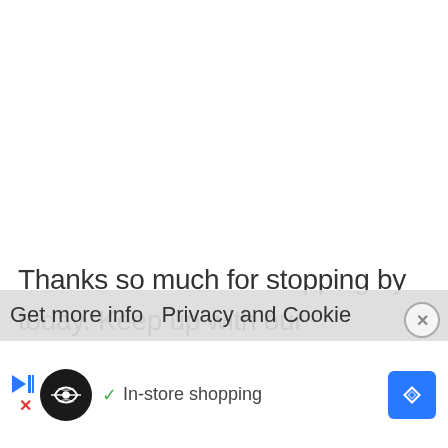Thanks so much for stopping by today. Keep up with our adventures, craft ideas, and frugal living tips by subscribing to the lostIP Newsletter
Get more info  Privacy and Cookie
[Figure (other): Advertisement banner with circular logo icon, checkmark, 'In-store shopping' text, blue diamond navigation icon, and close button]